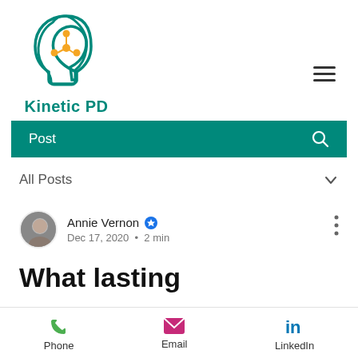[Figure (logo): Kinetic PD logo: teal head silhouette outline with orange neural network nodes inside, and teal text 'Kinetic PD' below]
Post
All Posts
Annie Vernon • Dec 17, 2020 • 2 min
What lasting
Phone • Email • LinkedIn